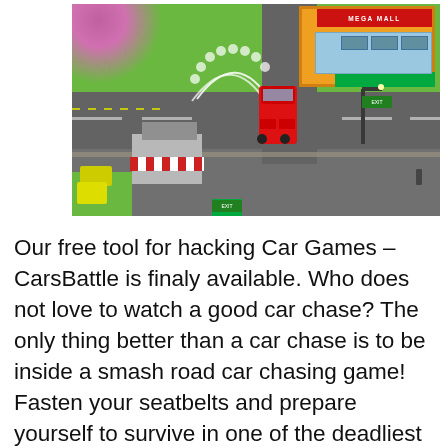[Figure (screenshot): Isometric view of a car game (Car Games – CarsBattle) showing a fire truck on a road intersection with smoke trails, a Mega Mall building in the top right, street lamps, small buildings with striped awnings, yellow vehicles, and green grass areas. Pink/magenta smoke in top left corner.]
Our free tool for hacking Car Games – CarsBattle is finaly available. Who does not love to watch a good car chase? The only thing better than a car chase is to be inside a smash road car chasing game! Fasten your seatbelts and prepare yourself to survive in one of the deadliest tank wars. Lethal tanks